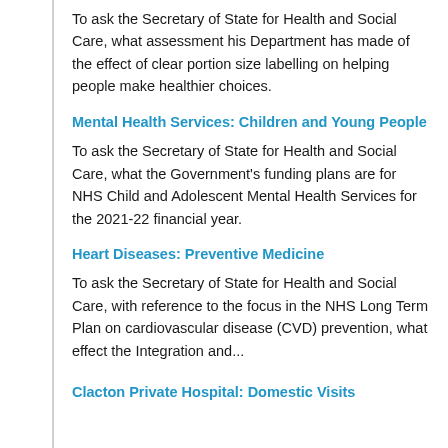To ask the Secretary of State for Health and Social Care, what assessment his Department has made of the effect of clear portion size labelling on helping people make healthier choices.
Mental Health Services: Children and Young People
To ask the Secretary of State for Health and Social Care, what the Government's funding plans are for NHS Child and Adolescent Mental Health Services for the 2021-22 financial year.
Heart Diseases: Preventive Medicine
To ask the Secretary of State for Health and Social Care, with reference to the focus in the NHS Long Term Plan on cardiovascular disease (CVD) prevention, what effect the Integration and...
Clacton Private Hospital: Domestic Visits